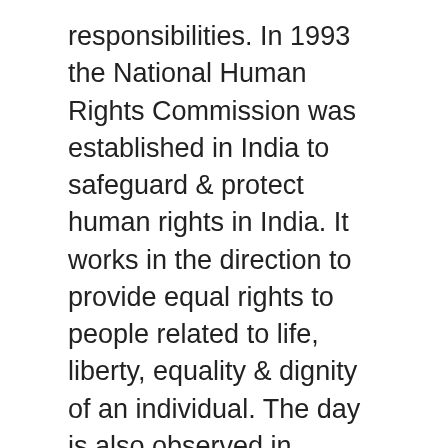responsibilities. In 1993 the National Human Rights Commission was established in India to safeguard & protect human rights in India. It works in the direction to provide equal rights to people related to life, liberty, equality & dignity of an individual. The day is also observed in governmental, non-governmental & educational institute with several events.
It is celebrated internationally in all the countries to make aware the people & the younger generation regarding the same. Human rights have empowered all of us with the dignity & motivation we all require. Now it is our responsibility to safeguard human rights in future. Let us join our